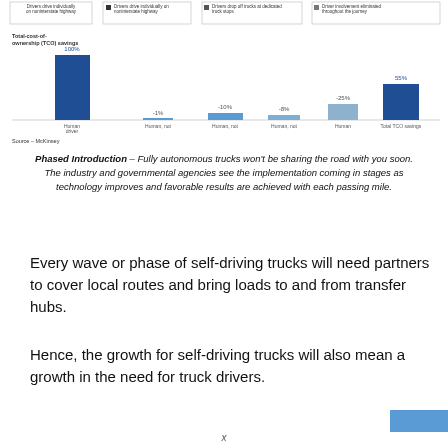[Figure (bar-chart): Total-cost-of-ownership (TCO) savings]
Phased Introduction – Fully autonomous trucks won't be sharing the road with you soon. The industry and governmental agencies see the implementation coming in stages as technology improves and favorable results are achieved with each passing mile.
Every wave or phase of self-driving trucks will need partners to cover local routes and bring loads to and from transfer hubs.
Hence, the growth for self-driving trucks will also mean a growth in the need for truck drivers.